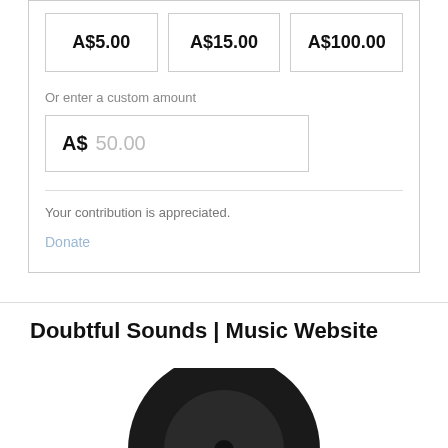A$5.00
A$15.00
A$100.00
Or enter a custom amount
A$ 50.00
Your contribution is appreciated.
Donate
Doubtful Sounds | Music Website
[Figure (photo): Top portion of a vinyl record (black) visible at the bottom of the page]